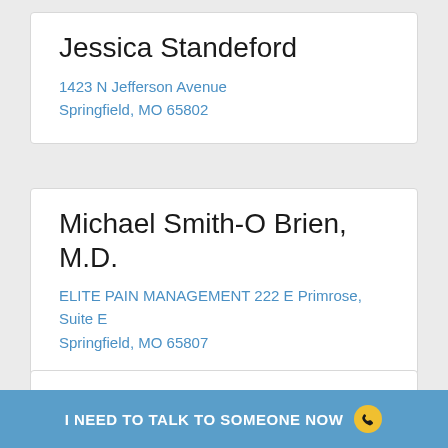Jessica Standeford
1423 N Jefferson Avenue
Springfield, MO 65802
Michael Smith-O Brien, M.D.
ELITE PAIN MANAGEMENT 222 E Primrose, Suite E
Springfield, MO 65807
Ashish Sharma, MD
1965 South Fremont Suite 330
I NEED TO TALK TO SOMEONE NOW